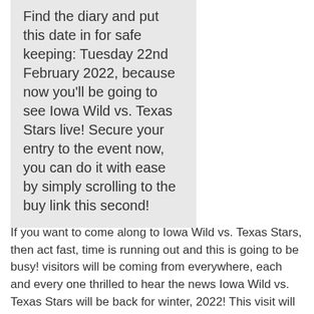Find the diary and put this date in for safe keeping: Tuesday 22nd February 2022, because now you'll be going to see Iowa Wild vs. Texas Stars live! Secure your entry to the event now, you can do it with ease by simply scrolling to the buy link this second!
If you want to come along to Iowa Wild vs. Texas Stars, then act fast, time is running out and this is going to be busy! visitors will be coming from everywhere, each and every one thrilled to hear the news Iowa Wild vs. Texas Stars will be back for winter, 2022! This visit will be at a brilliant choice of venue, the epic Wells Fargo Arena, Des Moines, Iowa, visitors